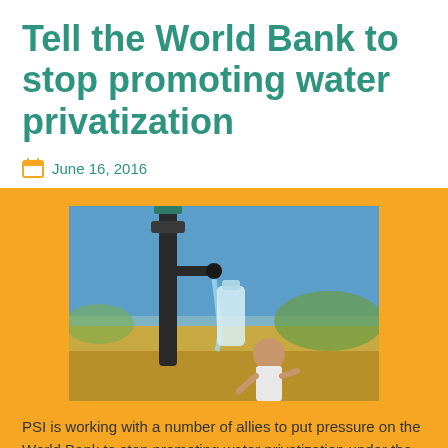Tell the World Bank to stop promoting water privatization
June 16, 2016
[Figure (photo): Close-up of a water tap with a person collecting water in a bottle against a blue sky background.]
PSI is working with a number of allies to put pressure on the World Bank to stop promoting water privatization under the disguise of public private partnerships (PPPs). Send a letter to the World Bank Executive Director representing your country asking that the World Bank end